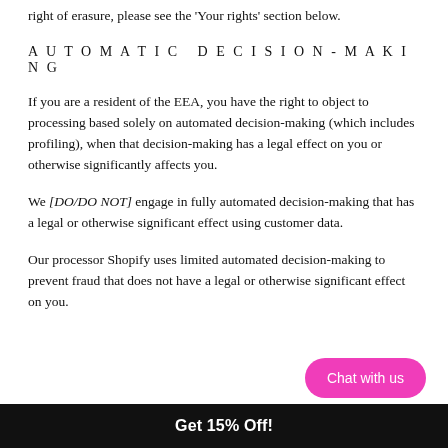right of erasure, please see the ‘Your rights’ section below.
AUTOMATIC DECISION-MAKING
If you are a resident of the EEA, you have the right to object to processing based solely on automated decision-making (which includes profiling), when that decision-making has a legal effect on you or otherwise significantly affects you.
We [DO/DO NOT] engage in fully automated decision-making that has a legal or otherwise significant effect using customer data.
Our processor Shopify uses limited automated decision-making to prevent fraud that does not have a legal or otherwise significant effect on you.
Get 15% Off!